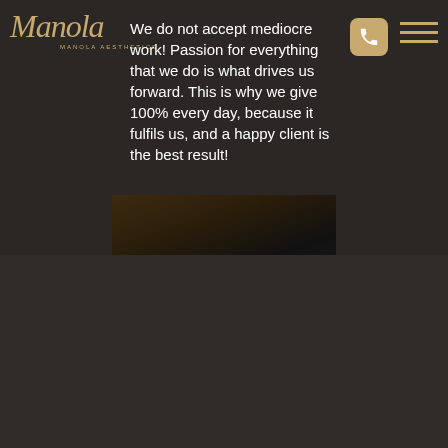[Figure (logo): Manola Aesthetics logo with script text and subtitle]
We do not accept mediocre work! Passion for everything that we do is what drives us forward. This is why we give 100% every day, because it fulfils us, and a happy client is the best result!
[Figure (photo): Close-up photo with dark tones, appears to be beauty/aesthetics related]
We use cookies to provide you with the best online experience. By agreeing, you accept the use of cookies in accordance with our cookie policy.
COOKIE SETTINGS
I ACCEPT